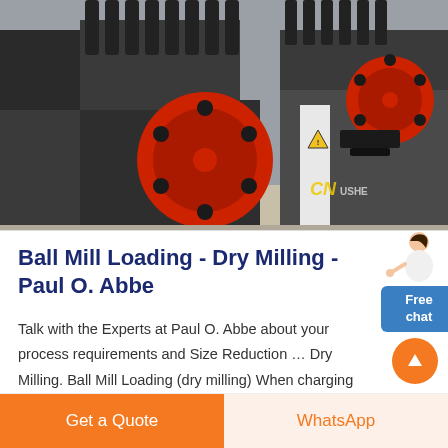[Figure (photo): Industrial ball mill / crusher machine with red flywheel and dark metal components in a factory setting. Watermark 'CN CRUSHER' visible.]
Ball Mill Loading - Dry Milling - Paul O. Abbe
Talk with the Experts at Paul O. Abbe about your process requirements and Size Reduction … Dry Milling. Ball Mill Loading (dry milling) When charging a ball mill, …